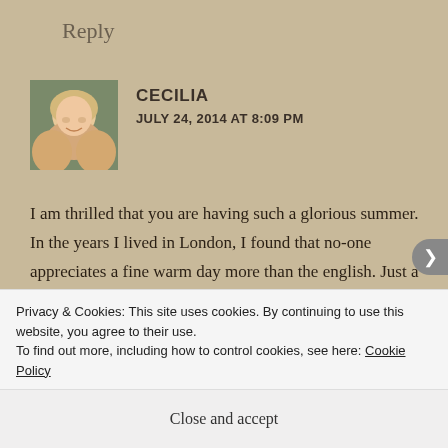Reply
CECILIA
JULY 24, 2014 AT 8:09 PM
I am thrilled that you are having such a glorious summer. In the years I lived in London, I found that no-one appreciates a fine warm day more than the english. Just a breath of warm air and the men were pulling off their
Privacy & Cookies: This site uses cookies. By continuing to use this website, you agree to their use.
To find out more, including how to control cookies, see here: Cookie Policy
Close and accept